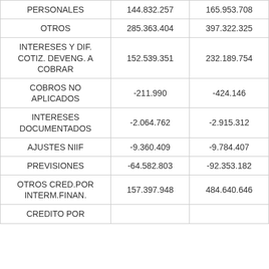| PERSONALES | 144.832.257 | 165.953.708 |
| OTROS | 285.363.404 | 397.322.325 |
| INTERESES Y DIF. COTIZ. DEVENG. A COBRAR | 152.539.351 | 232.189.754 |
| COBROS NO APLICADOS | -211.990 | -424.146 |
| INTERESES DOCUMENTADOS | -2.064.762 | -2.915.312 |
| AJUSTES NIIF | -9.360.409 | -9.784.407 |
| PREVISIONES | -64.582.803 | -92.353.182 |
| OTROS CRED.POR INTERM.FINAN. | 157.397.948 | 484.640.646 |
| CREDITO POR |  |  |